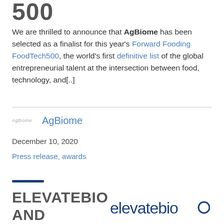500
We are thrilled to announce that AgBiome has been selected as a finalist for this year's Forward Fooding FoodTech500, the world's first definitive list of the global entrepreneurial talent at the intersection between food, technology, and[..]
AgBiome
December 10, 2020
Press release, awards
ELEVATEBIO AND
[Figure (logo): ElevateBio logo in dark navy blue text with a circular O at the end]